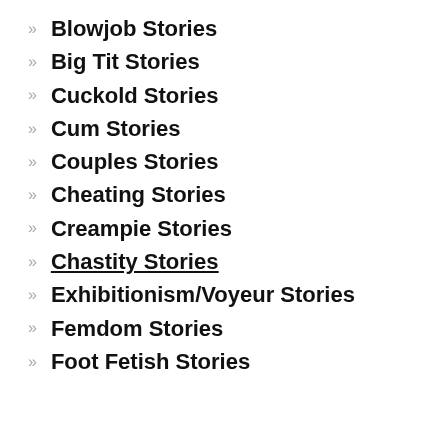Blowjob Stories
Big Tit Stories
Cuckold Stories
Cum Stories
Couples Stories
Cheating Stories
Creampie Stories
Chastity Stories
Exhibitionism/Voyeur Stories
Femdom Stories
Foot Fetish Stories